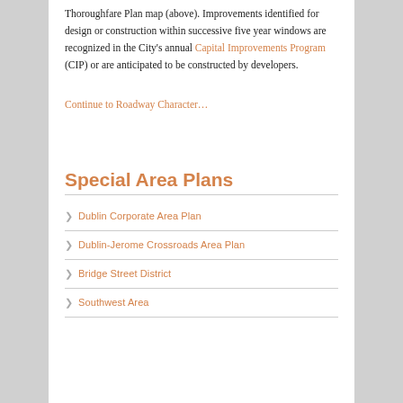Thoroughfare Plan map (above). Improvements identified for design or construction within successive five year windows are recognized in the City's annual Capital Improvements Program (CIP) or are anticipated to be constructed by developers.
Continue to Roadway Character…
Special Area Plans
Dublin Corporate Area Plan
Dublin-Jerome Crossroads Area Plan
Bridge Street District
Southwest Area